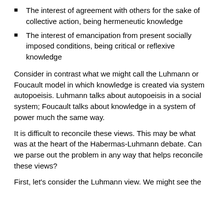The interest of agreement with others for the sake of collective action, being hermeneutic knowledge
The interest of emancipation from present socially imposed conditions, being critical or reflexive knowledge
Consider in contrast what we might call the Luhmann or Foucault model in which knowledge is created via system autopoeisis. Luhmann talks about autopoeisis in a social system; Foucault talks about knowledge in a system of power much the same way.
It is difficult to reconcile these views. This may be what was at the heart of the Habermas-Luhmann debate. Can we parse out the problem in any way that helps reconcile these views?
First, let's consider the Luhmann view. We might see the